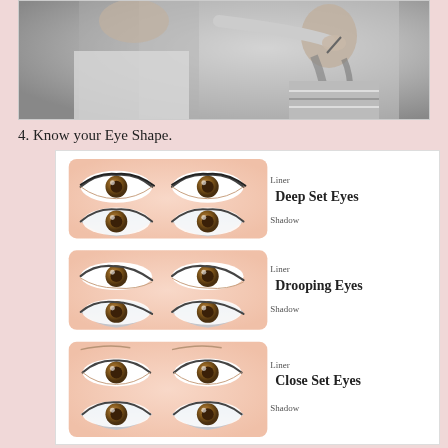[Figure (photo): Black and white photo of a makeup artist applying makeup to a young girl with braided hair]
4. Know your Eye Shape.
[Figure (illustration): Diagram showing three eye shape types: Deep Set Eyes, Drooping Eyes, and Close Set Eyes, each with liner and shadow application examples illustrated on pairs of eyes]